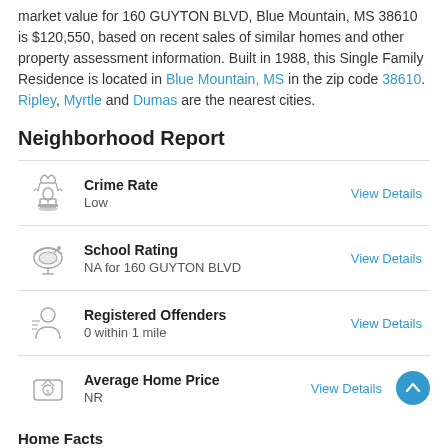market value for 160 GUYTON BLVD, Blue Mountain, MS 38610 is $120,550, based on recent sales of similar homes and other property assessment information. Built in 1988, this Single Family Residence is located in Blue Mountain, MS in the zip code 38610. Ripley, Myrtle and Dumas are the nearest cities.
Neighborhood Report
Crime Rate — Low — View Details
School Rating — NA for 160 GUYTON BLVD — View Details
Registered Offenders — 0 within 1 mile — View Details
Average Home Price — NR — View Details
Home Facts